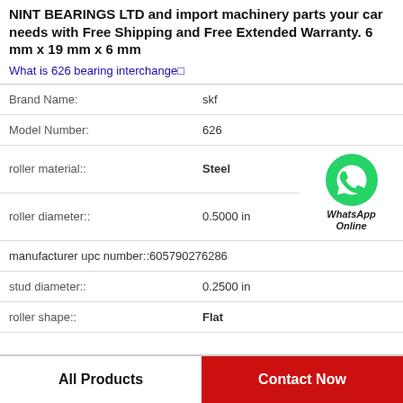NINT BEARINGS LTD and import machinery parts your car needs with Free Shipping and Free Extended Warranty. 6 mm x 19 mm x 6 mm
What is 626 bearing interchange□
| Property | Value |
| --- | --- |
| Brand Name: | skf |
| Model Number: | 626 |
| roller material:: | Steel |
| roller diameter:: | 0.5000 in |
| manufacturer upc number:: | 605790276286 |
| stud diameter:: | 0.2500 in |
| roller shape:: | Flat |
[Figure (logo): WhatsApp Online green phone icon with text WhatsApp Online]
All Products
Contact Now